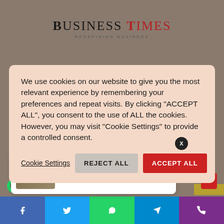BUSINESS TIMES — REDEFINING BUSINESS
LOADERS – ZL50GN, LW600K, LW300KN, LW900K, ZL50G
EXCAVATORS – XE370CA, XE335C, XE251C | GRADERS – GR180, GR215
We use cookies on our website to give you the most relevant experience by remembering your preferences and repeat visits. By clicking "ACCEPT ALL", you consent to the use of ALL the cookies. However, you may visit "Cookie Settings" to provide a controlled consent.
Cookie Settings   REJECT ALL   ACCEPT ALL
Email: sales@xcmgzimbabwe.com
Zim sweetens ex-farmers' deal
6 hours ago